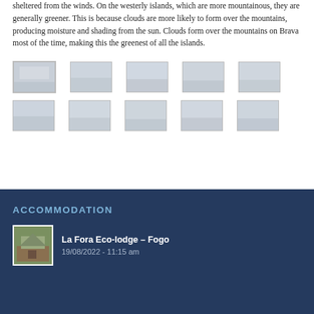sheltered from the winds. On the westerly islands, which are more mountainous, they are generally greener. This is because clouds are more likely to form over the mountains, producing moisture and shading from the sun. Clouds form over the mountains on Brava most of the time, making this the greenest of all the islands.
[Figure (photo): Row of 5 small thumbnail photos of landscapes/buildings]
[Figure (photo): Row of 5 small thumbnail photos of landscapes/buildings]
ACCOMMODATION
[Figure (photo): Small thumbnail of La Fora Eco-lodge building]
La Fora Eco-lodge – Fogo
19/08/2022 - 11:15 am